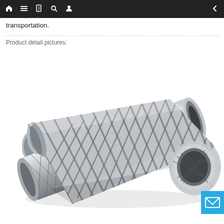Navigation bar with home, menu, document, search, profile, and back icons
transportation.
Product detail pictures:
[Figure (photo): A stainless steel flexible exhaust pipe coupling with braided metal mesh exterior, shown at an angle on white background. The component features two circular metallic end fittings connected by a long braided flexible section.]